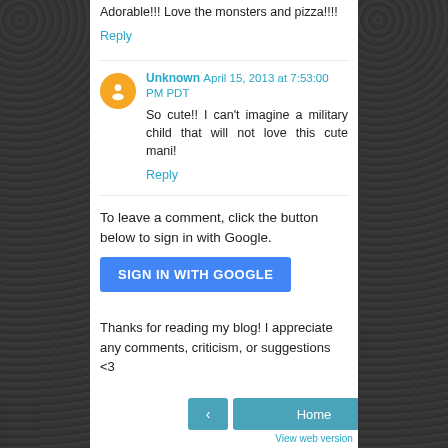Adorable!!! Love the monsters and pizza!!!!
Reply
Unknown April 15, 2013 at 7:53:00 PM PDT
So cute!! I can't imagine a military child that will not love this cute mani!
Reply
To leave a comment, click the button below to sign in with Google.
SIGN IN WITH GOOGLE
Thanks for reading my blog! I appreciate any comments, criticism, or suggestions <3
Home
View web version